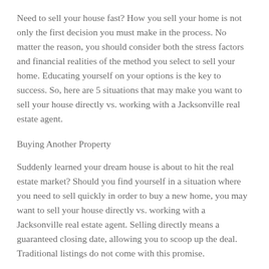Need to sell your house fast? How you sell your home is not only the first decision you must make in the process. No matter the reason, you should consider both the stress factors and financial realities of the method you select to sell your home. Educating yourself on your options is the key to success. So, here are 5 situations that may make you want to sell your house directly vs. working with a Jacksonville real estate agent.
Buying Another Property
Suddenly learned your dream house is about to hit the real estate market? Should you find yourself in a situation where you need to sell quickly in order to buy a new home, you may want to sell your house directly vs. working with a Jacksonville real estate agent. Selling directly means a guaranteed closing date, allowing you to scoop up the deal. Traditional listings do not come with this promise.
Inheritance